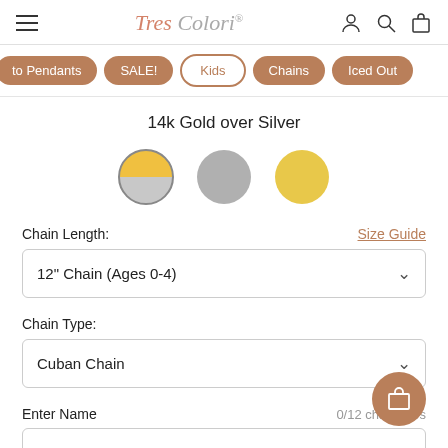Tres Colori
to Pendants
SALE!
Kids
Chains
Iced Out
14k Gold over Silver
Chain Length:
Size Guide
12" Chain (Ages 0-4)
Chain Type:
Cuban Chain
Enter Name
0/12 characters